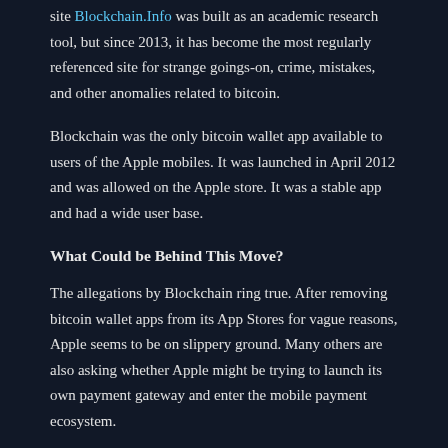site Blockchain.Info was built as an academic research tool, but since 2013, it has become the most regularly referenced site for strange goings-on, crime, mistakes, and other anomalies related to bitcoin.
Blockchain was the only bitcoin wallet app available to users of the Apple mobiles. It was launched in April 2012 and was allowed on the Apple store. It was a stable app and had a wide user base.
What Could be Behind This Move?
The allegations by Blockchain ring true. After removing bitcoin wallet apps from its App Stores for vague reasons, Apple seems to be on slippery ground. Many others are also asking whether Apple might be trying to launch its own payment gateway and enter the mobile payment ecosystem.
And that's not all; Apple even blacklisted Coinbase's iOS app just three weeks after its launch. This was a popular bitcoin payment